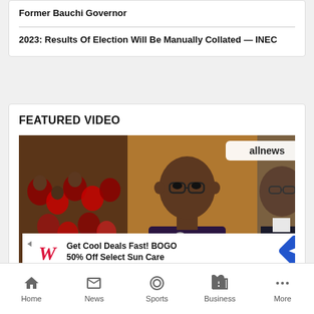Former Bauchi Governor
2023: Results Of Election Will Be Manually Collated — INEC
FEATURED VIDEO
[Figure (screenshot): Video thumbnail showing a man speaking at a microphone with a crowd in traditional attire on the left and another man on the right, with allnews watermark]
[Figure (screenshot): Advertisement overlay showing Walgreens logo with text 'Get Cool Deals Fast! BOGO 50% Off Select Sun Care']
Osin...
Home  News  Sports  Business  More